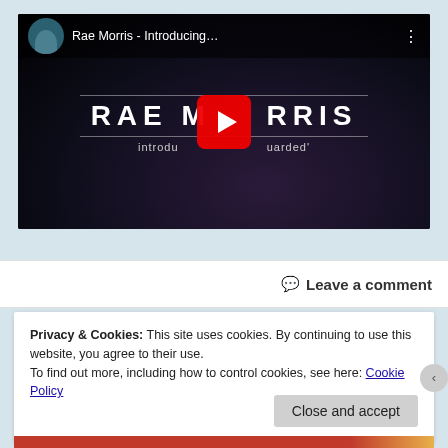[Figure (screenshot): YouTube video thumbnail for 'Rae Morris - Introducing...' showing the artist name RAE MORRIS in large letters with text 'introducing Guarded' on a dark background, with a circular avatar and play button]
Leave a comment
Privacy & Cookies: This site uses cookies. By continuing to use this website, you agree to their use.
To find out more, including how to control cookies, see here: Cookie Policy
Close and accept